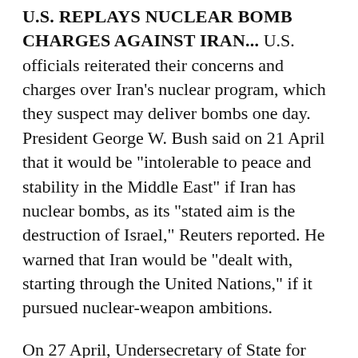U.S. REPLAYS NUCLEAR BOMB CHARGES AGAINST IRAN... U.S. officials reiterated their concerns and charges over Iran's nuclear program, which they suspect may deliver bombs one day. President George W. Bush said on 21 April that it would be "intolerable to peace and stability in the Middle East" if Iran has nuclear bombs, as its "stated aim is the destruction of Israel," Reuters reported. He warned that Iran would be "dealt with, starting through the United Nations," if it pursued nuclear-weapon ambitions.
On 27 April, Undersecretary of State for Arms Control John Bolton said in New York that Iran is deceiving the world over its nuclear activities and, "if we permit [its] deception to go on much longer, it will be too late," because Iran "will have nuclear weapons," AFP reported. Bolton said at a meeting to